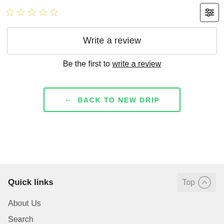[Figure (other): Five empty gold star rating icons in a row]
[Figure (other): Filter/settings icon button with horizontal sliders]
Write a review
Be the first to write a review
← BACK TO NEW DRIP
Quick links
Top ↑
About Us
Search